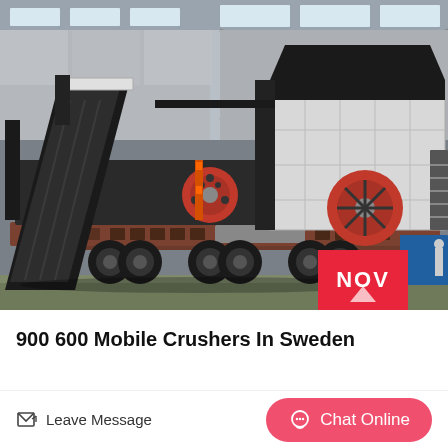[Figure (photo): A large mobile crusher machine mounted on a heavy trailer/truck, photographed inside an industrial factory/warehouse building. The crusher has a prominent conveyor belt at an angle, red flywheels, black and white painted frame, and heavy-duty trailer axles with multiple wheels. The building interior shows steel structure roof and concrete walls.]
900 600 Mobile Crushers In Sweden
Leave Message
Chat Online